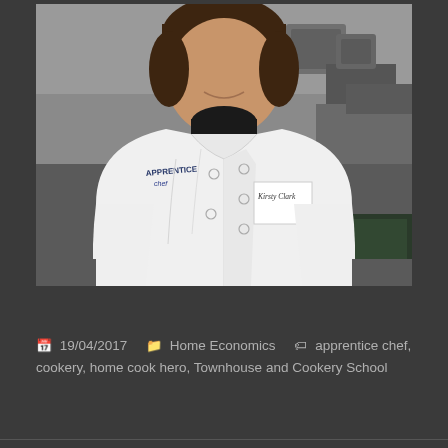[Figure (photo): A young woman wearing a white chef's jacket with 'Apprentice' logo and a name tag reading 'Kirsty Clark', smiling in a professional kitchen with stainless steel equipment visible in the background.]
19/04/2017   Home Economics   apprentice chef, cookery, home cook hero, Townhouse and Cookery School